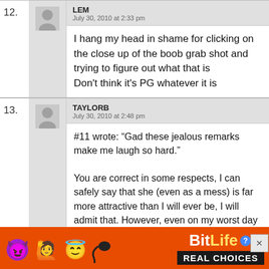12. LEM — July 30, 2010 at 2:33 pm — I hang my head in shame for clicking on the close up of the boob grab shot and trying to figure out what that is Don't think it's PG whatever it is
13. TAYLORB — July 30, 2010 at 2:48 pm — #11 wrote: “Gad these jealous remarks make me laugh so hard.” You are correct in some respects, I can safely say that she (even as a mess) is far more attractive than I will ever be, I will admit that. However, even on my worst day I do not look like a washed out, crotch flashing, drugged up, lush
[Figure (infographic): BitLife app advertisement banner with emoji characters (devil, woman with arms raised, winking angel), BitLife logo in yellow/white with question mark and X icons, and 'REAL CHOICES' text on black background]